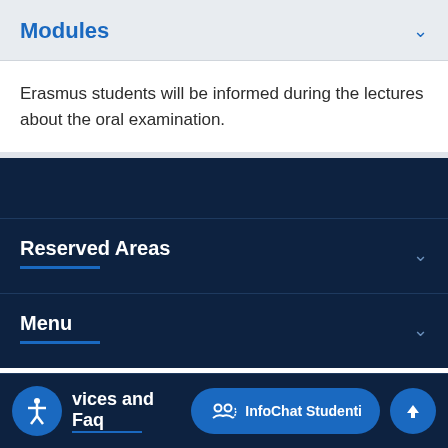Modules
Erasmus students will be informed during the lectures about the oral examination.
Reserved Areas
Menu
vices and Faq
InfoChat Studenti